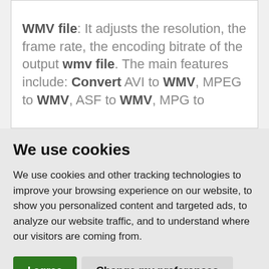WMV file: It adjusts the resolution, the frame rate, the encoding bitrate of the output wmv file. The main features include: Convert AVI to WMV, MPEG to WMV, ASF to WMV, MPG to
We use cookies
We use cookies and other tracking technologies to improve your browsing experience on our website, to show you personalized content and targeted ads, to analyze our website traffic, and to understand where our visitors are coming from.
I agree | Change my preferences